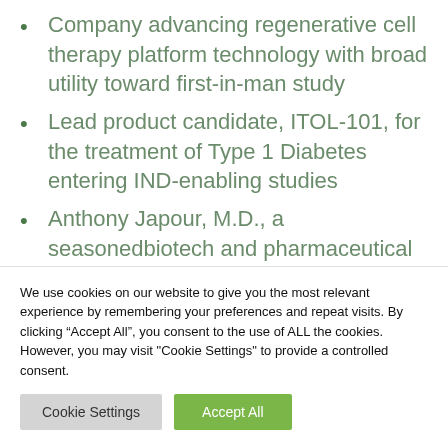Company advancing regenerative cell therapy platform technology with broad utility toward first-in-man study
Lead product candidate, ITOL-101, for the treatment of Type 1 Diabetes entering IND-enabling studies
Anthony Japour, M.D., a seasonedbiotech and pharmaceutical executive with over 30 years of
We use cookies on our website to give you the most relevant experience by remembering your preferences and repeat visits. By clicking “Accept All”, you consent to the use of ALL the cookies. However, you may visit "Cookie Settings" to provide a controlled consent.